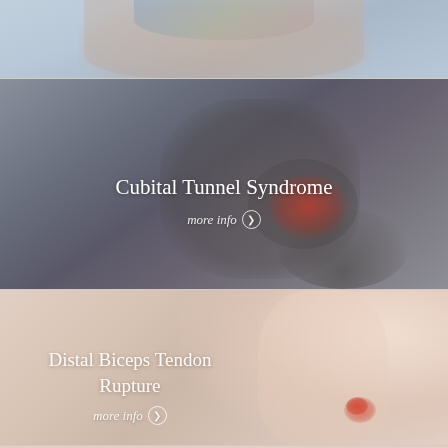[Figure (photo): Partial view of a person holding their wrist/hand area, medical condition illustration (top of card, cropped)]
[Figure (photo): Person holding elbow with red highlighted pain area indicating Cubital Tunnel Syndrome]
Cubital Tunnel Syndrome
more info ❯
[Figure (photo): Person holding arm/bicep area with red highlighted pain spot indicating Distal Biceps Tendon Rupture]
Distal Biceps Tendon Rupture
more info ❯